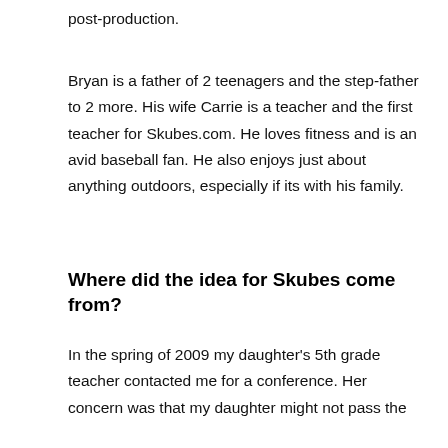post-production.
Bryan is a father of 2 teenagers and the step-father to 2 more. His wife Carrie is a teacher and the first teacher for Skubes.com. He loves fitness and is an avid baseball fan. He also enjoys just about anything outdoors, especially if its with his family.
Where did the idea for Skubes come from?
In the spring of 2009 my daughter's 5th grade teacher contacted me for a conference. Her concern was that my daughter might not pass the